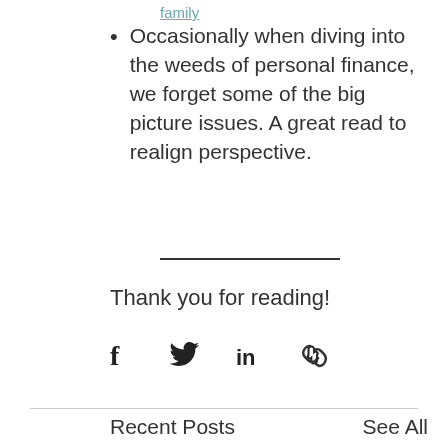family
Occasionally when diving into the weeds of personal finance, we forget some of the big picture issues. A great read to realign perspective.
Thank you for reading!
[Figure (infographic): Social share icons: Facebook, Twitter, LinkedIn, link/copy]
Recent Posts
See All
[Figure (photo): Three partial images of recent blog posts: a teal/blue rectangle on the left, a wooden table with a bar chart printout in the center, and a wooden surface on the right]